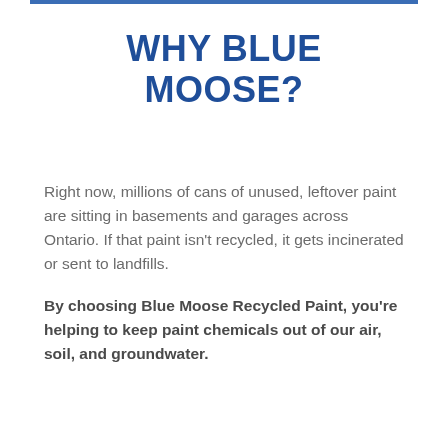WHY BLUE MOOSE?
Right now, millions of cans of unused, leftover paint are sitting in basements and garages across Ontario. If that paint isn't recycled, it gets incinerated or sent to landfills.
By choosing Blue Moose Recycled Paint, you're helping to keep paint chemicals out of our air, soil, and groundwater.